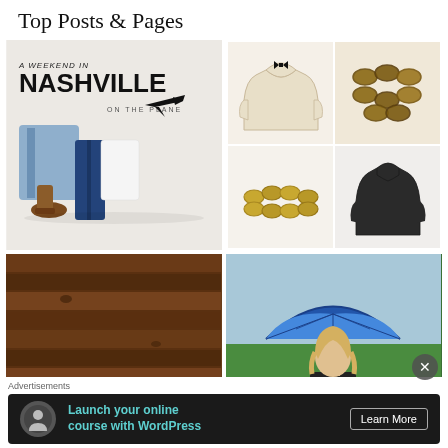Top Posts & Pages
[Figure (illustration): A Weekend in Nashville On The Plane travel outfit collage with denim shirt, jeans, white tee, and brown boots]
[Figure (illustration): Fashion items: cream bow sweater and tortoise chain-link necklace on top, gold link bracelet and dark turtleneck sweater on bottom]
[Figure (photo): Rustic wooden wall with neon red light sign below]
[Figure (photo): Blonde woman holding a blue umbrella and a coffee cup outdoors on green grass]
Advertisements
[Figure (infographic): Advertisement banner: Launch your online course with WordPress - Learn More]